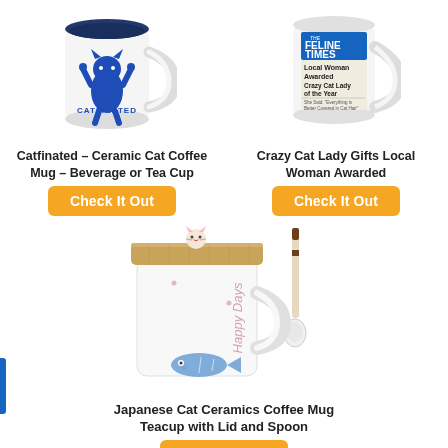[Figure (photo): Catfinated ceramic cat coffee mug with blue cat design on white ceramic]
[Figure (photo): Crazy Cat Lady Gifts mug with newspaper front page design showing The Feline Times headline]
Catfinated – Ceramic Cat Coffee Mug – Beverage or Tea Cup
Check It Out
Crazy Cat Lady Gifts Local Woman Awarded
Check It Out
[Figure (photo): Japanese cat ceramics coffee mug with bamboo lid topped with a cat figurine, white mug with Happy Days text and fish design, with a white spoon]
Japanese Cat Ceramics Coffee Mug Teacup with Lid and Spoon
Check It Out